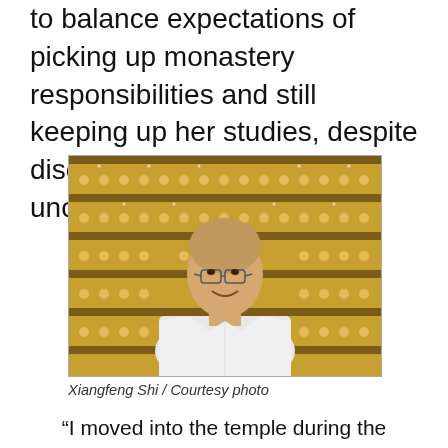to balance expectations of picking up monastery responsibilities and still keeping up her studies, despite disorientation, anxiety, and uncertainty.
[Figure (photo): Portrait of Xiangfeng Shi, a smiling person with shaved head and glasses wearing white robes, standing in front of shelves of golden Buddhist figurines]
Xiangfeng Shi / Courtesy photo
“I moved into the temple during the